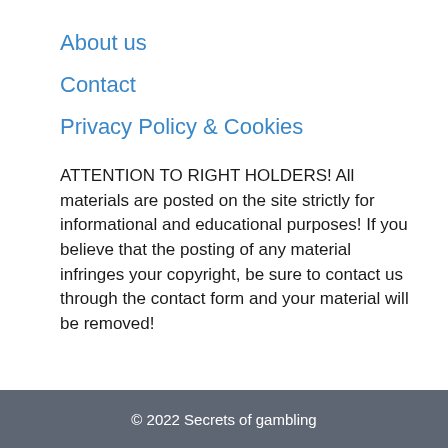About us
Contact
Privacy Policy & Cookies
ATTENTION TO RIGHT HOLDERS! All materials are posted on the site strictly for informational and educational purposes! If you believe that the posting of any material infringes your copyright, be sure to contact us through the contact form and your material will be removed!
© 2022 Secrets of gambling